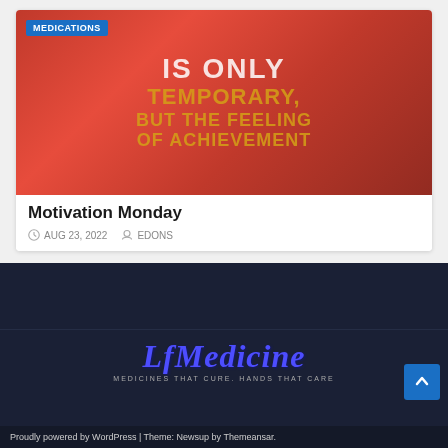[Figure (screenshot): Blog post card with motivational image background showing text 'IS ONLY TEMPORARY, BUT THE FEELING OF ACHIEVEMENT' in gold/white on red gradient background, with MEDICATIONS badge overlay]
Motivation Monday
AUG 23, 2022  EDONS
[Figure (logo): LFMedicine logo with italic blue script text and tagline MEDICINES THAT CURE. HANDS THAT CARE]
Proudly powered by WordPress | Theme: Newsup by Themeansar.